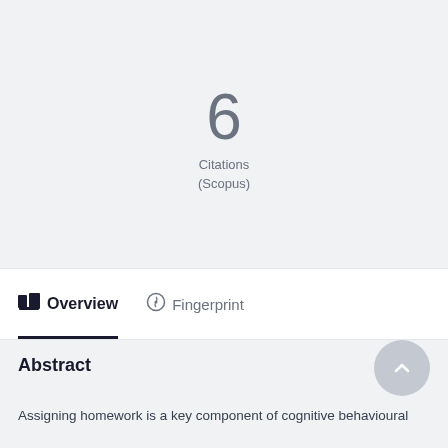6
Citations
(Scopus)
Overview
Fingerprint
Abstract
Assigning homework is a key component of cognitive behavioural